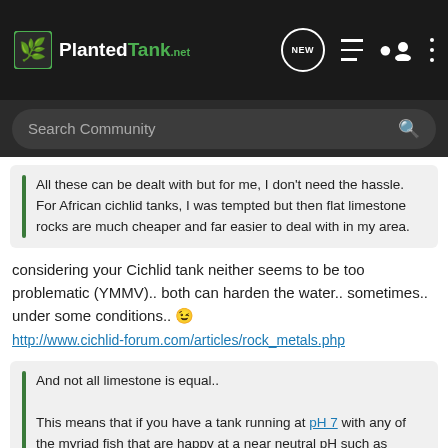PlantedTank — NEW [icons]
Search Community
All these can be dealt with but for me, I don't need the hassle. For African cichlid tanks, I was tempted but then flat limestone rocks are much cheaper and far easier to deal with in my area.
considering your Cichlid tank neither seems to be too problematic (YMMV).. both can harden the water.. sometimes.. under some conditions.. 😉
http://www.cichlid-forum.com/articles/rock_metals.php
And not all limestone is equal..

This means that if you have a tank running at pH 7 with any of the myriad fish that are happy at a near neutral pH such as tetras, corys, many South American cichlids, kribs, gouramis, rasboras, danios, etc etc. then carbonate rocks are not an automatic no-no, as is often suggested. In most cases, such rocks may cause the pH to drift up a
Click to expand...